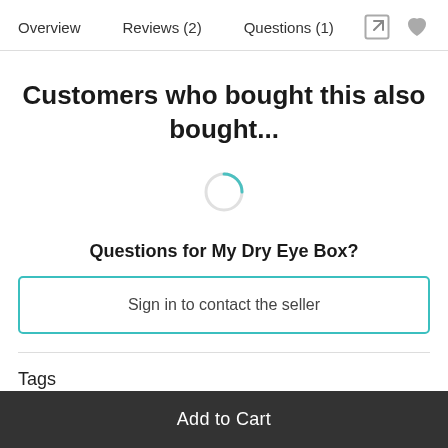Overview   Reviews (2)   Questions (1)
Customers who bought this also bought...
[Figure (other): Loading spinner — a circular spinner icon indicating content is loading]
Questions for My Dry Eye Box?
Sign in to contact the seller
Tags
Add to Cart